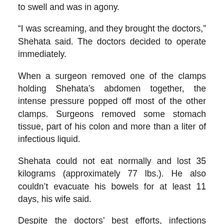to swell and was in agony.
“I was screaming, and they brought the doctors,” Shehata said. The doctors decided to operate immediately.
When a surgeon removed one of the clamps holding Shehata’s abdomen together, the intense pressure popped off most of the other clamps. Surgeons removed some stomach tissue, part of his colon and more than a liter of infectious liquid.
Shehata could not eat normally and lost 35 kilograms (approximately 77 lbs.). He also couldn’t evacuate his bowels for at least 11 days, his wife said.
Despite the doctors’ best efforts, infections continued to rage through Shehata’s body, accompanied by alarming spikes in body temperature.